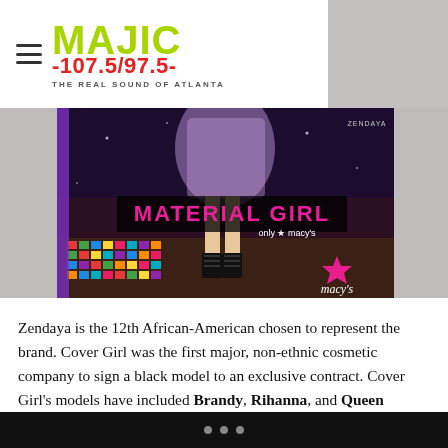MAJIC 107.5/97.5 THE REAL SOUND OF ATLANTA
[Figure (photo): Macy's Material Girl advertisement featuring Zendaya in a patterned dress with high heels, standing in front of a display with colorful packaging. Large text reads 'MATERIAL GIRL only at macy's' with the Macy's star logo.]
Zendaya is the 12th African-American chosen to represent the brand. Cover Girl was the first major, non-ethnic cosmetic company to sign a black model to an exclusive contract. Cover Girl's models have included Brandy, Rihanna, and Queen Latifah. They have offered $100K contracts to the winners of
• • •